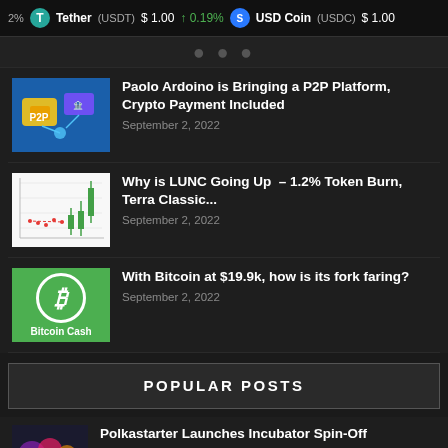2% | Tether (USDT) $1.00 ↑0.19% | USD Coin (USDC) $1.00
Paolo Ardoino is Bringing a P2P Platform, Crypto Payment Included
September 2, 2022
Why is LUNC Going Up – 1.2% Token Burn, Terra Classic...
September 2, 2022
With Bitcoin at $19.9k, how is its fork faring?
September 2, 2022
POPULAR POSTS
Polkastarter Launches Incubator Spin-Off